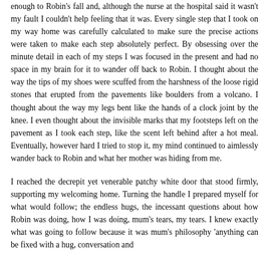enough to Robin's fall and, although the nurse at the hospital said it wasn't my fault I couldn't help feeling that it was. Every single step that I took on my way home was carefully calculated to make sure the precise actions were taken to make each step absolutely perfect. By obsessing over the minute detail in each of my steps I was focused in the present and had no space in my brain for it to wander off back to Robin. I thought about the way the tips of my shoes were scuffed from the harshness of the loose rigid stones that erupted from the pavements like boulders from a volcano. I thought about the way my legs bent like the hands of a clock joint by the knee. I even thought about the invisible marks that my footsteps left on the pavement as I took each step, like the scent left behind after a hot meal. Eventually, however hard I tried to stop it, my mind continued to aimlessly wander back to Robin and what her mother was hiding from me.
I reached the decrepit yet venerable patchy white door that stood firmly, supporting my welcoming home. Turning the handle I prepared myself for what would follow; the endless hugs, the incessant questions about how Robin was doing, how I was doing, mum's tears, my tears. I knew exactly what was going to follow because it was mum's philosophy 'anything can be fixed with a hug, conversation and